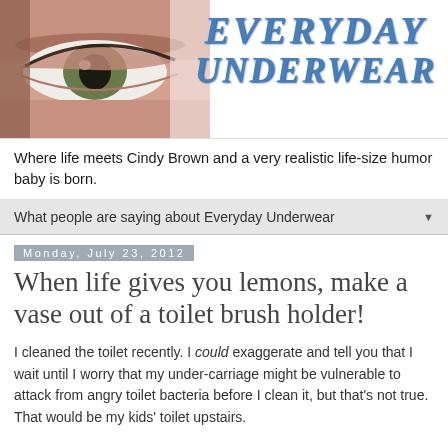[Figure (illustration): Blog header banner with a close-up photo of a woman's eye on the left and the stylized blue text logo 'Everyday Underwear' on the right]
Where life meets Cindy Brown and a very realistic life-size humor baby is born.
What people are saying about Everyday Underwear ▼
Monday, July 23, 2012
When life gives you lemons, make a vase out of a toilet brush holder!
I cleaned the toilet recently. I could exaggerate and tell you that I wait until I worry that my under-carriage might be vulnerable to attack from angry toilet bacteria before I clean it, but that's not true. That would be my kids' toilet upstairs.